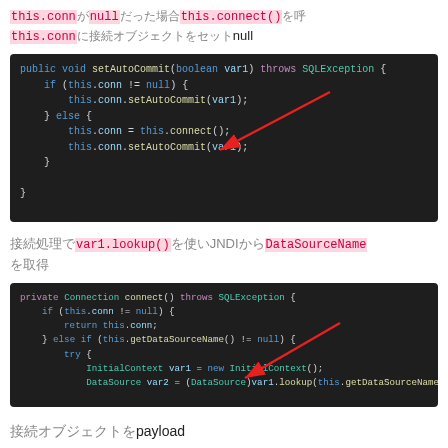this.connがnullだった場合this.connect()を呼び出し this.connに接続オブジェクトをnullにセット
[Figure (screenshot): Dark-themed code block showing Java setAutoCommit method with a red arrow pointing to 'this.conn = this.connect();' line]
接続処理でvar1.lookup()を使いJNDIからDataSourceNameを取得
[Figure (screenshot): Dark-themed code block showing Java private Connection connect() method with a red arrow pointing to DataSource var2 = (DataSource)var1.lookup(this.getDataSourceName()); line]
接続オブジェクトをpayloadに